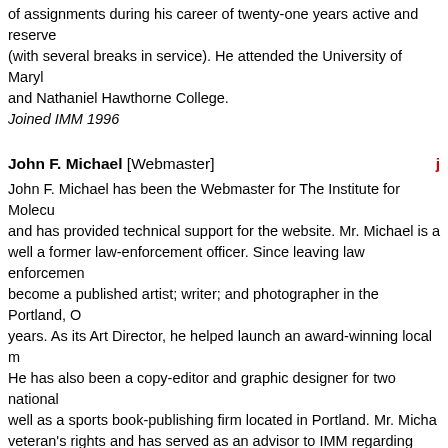of assignments during his career of twenty-one years active and reserve (with several breaks in service). He attended the University of Maryland and Nathaniel Hawthorne College.
Joined IMM 1996
John F. Michael [Webmaster]
John F. Michael has been the Webmaster for The Institute for Molecular Manufacturing and has provided technical support for the website. Mr. Michael is a veteran as well a former law-enforcement officer. Since leaving law enforcement he has become a published artist; writer; and photographer in the Portland, Oregon area for years. As its Art Director, he helped launch an award-winning local magazine. He has also been a copy-editor and graphic designer for two national magazines, as well as a sports book-publishing firm located in Portland. Mr. Michael is active in veteran's rights and has served as an advisor to IMM regarding military matters for years.
Joined IMM 1996 providing document research.
Current Webmaster since 2006 and advisor.
Top of the page
HOME PAGE